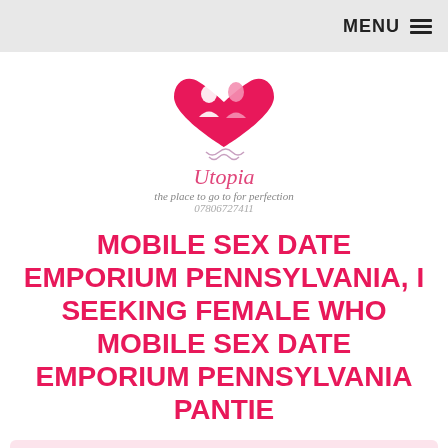MENU ≡
[Figure (logo): Utopia logo with pink heart and two silhouettes, tagline 'the place to go to for perfection', phone 07806727411]
MOBILE SEX DATE EMPORIUM PENNSYLVANIA, I SEEKING FEMALE WHO MOBILE SEX DATE EMPORIUM PENNSYLVANIA PANTIE
Janot
Chat now